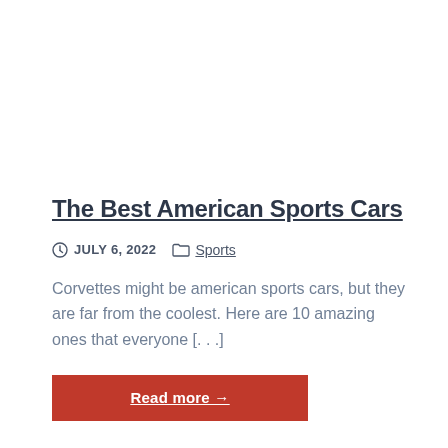The Best American Sports Cars
JULY 6, 2022   Sports
Corvettes might be american sports cars, but they are far from the coolest. Here are 10 amazing ones that everyone [...]
Read more →